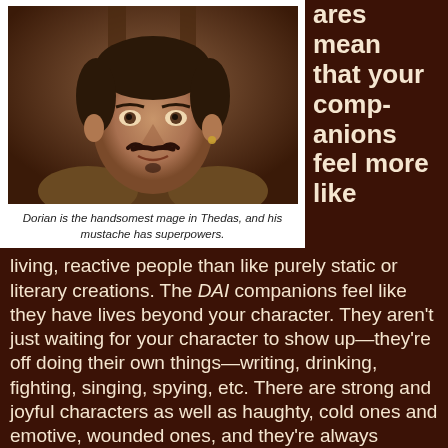[Figure (photo): Portrait of Dorian, a mage character from Dragon Age: Inquisition, shown from the shoulders up with a mustache, wearing armored clothing, with a stone/wood background.]
Dorian is the handsomest mage in Thedas, and his mustache has superpowers.
does mean that your companions feel more like living, reactive people than like purely static or literary creations. The DAI companions feel like they have lives beyond your character. They aren't just waiting for your character to show up—they're off doing their own things—writing, drinking, fighting, singing, spying, etc. There are strong and joyful characters as well as haughty, cold ones and emotive, wounded ones, and they're always interesting and (best of all) surprising. Many of them also have personal quests for your Inquisitor, and those for Dorian, Iron Bull, Cassandra, and others